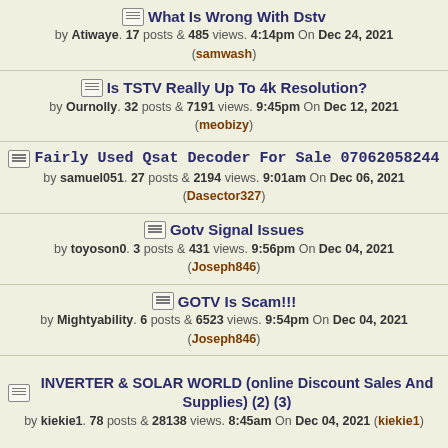What Is Wrong With Dstv — by Atiwaye. 17 posts & 485 views. 4:14pm On Dec 24, 2021 (samwash)
Is TSTV Really Up To 4k Resolution? — by Ournolly. 32 posts & 7191 views. 9:45pm On Dec 12, 2021 (meobizy)
Fairly Used Qsat Decoder For Sale 07062058244 — by samuel051. 27 posts & 2194 views. 9:01am On Dec 06, 2021 (Dasector327)
Gotv Signal Issues — by toyoson0. 3 posts & 431 views. 9:56pm On Dec 04, 2021 (Joseph846)
GOTV Is Scam!!! — by Mightyability. 6 posts & 6523 views. 9:54pm On Dec 04, 2021 (Joseph846)
INVERTER & SOLAR WORLD (online Discount Sales And Supplies) (2) (3) — by kiekie1. 78 posts & 28138 views. 8:45am On Dec 04, 2021 (kiekie1)